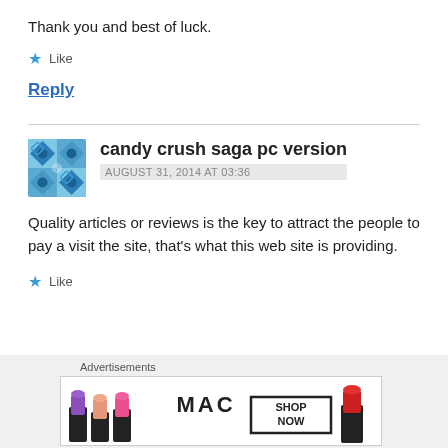Thank you and best of luck.
★ Like
Reply
candy crush saga pc version
AUGUST 31, 2014 AT 03:36
Quality articles or reviews is the key to attract the people to pay a visit the site, that's what this web site is providing.
★ Like
Advertisements